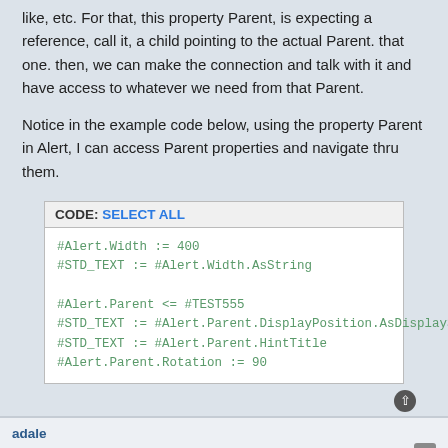like, etc. For that, this property Parent, is expecting a reference, call it, a child pointing to the actual Parent. that one. then, we can make the connection and talk with it and have access to whatever we need from that Parent.
Notice in the example code below, using the property Parent in Alert, I can access Parent properties and navigate thru them.
[Figure (screenshot): Code block with header 'CODE: SELECT ALL' showing code: #Alert.Width := 400 / #STD_TEXT := #Alert.Width.AsString / #Alert.Parent <= #TEST555 / #STD_TEXT := #Alert.Parent.DisplayPosition.AsDisplayString / #STD_TEXT := #Alert.Parent.HintTitle / #Alert.Parent.Rotation := 90]
adale
Re: ASSIGN operator <= vs :=
Fri May 27, 2022 4:22 am
That helps.